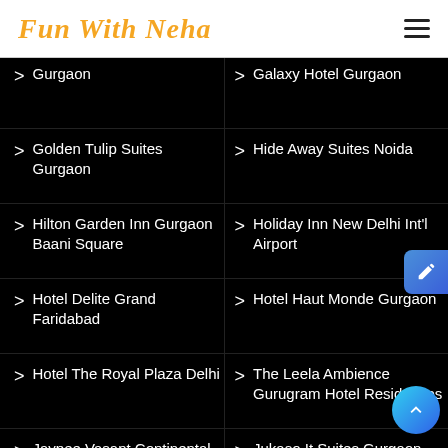Fun With Neha
> Gurgaon
> Galaxy Hotel Gurgaon
> Golden Tulip Suites Gurgaon
> Hide Away Suites Noida
> Hilton Garden Inn Gurgaon Baani Square
> Holiday Inn New Delhi Int'l Airport
> Hotel Delite Grand Faridabad
> Hotel Haut Monde Gurgaon
> Hotel The Royal Plaza Delhi
> The Leela Ambience Gurugram Hotel Residences
> Jaypee Vasant Continental
> Jukaso It Suites Gurgaon